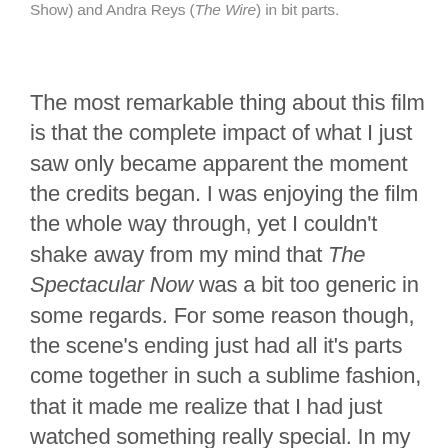Show) and Andra Reys (The Wire) in bit parts.
The most remarkable thing about this film is that the complete impact of what I just saw only became apparent the moment the credits began. I was enjoying the film the whole way through, yet I couldn't shake away from my mind that The Spectacular Now was a bit too generic in some regards. For some reason though, the scene's ending just had all it's parts come together in such a sublime fashion, that it made me realize that I had just watched something really special. In my mind, the movie went from a B to an A in just a millisecond. Simply put that this film is the teen-romance that critics have been waiting to see for a very long time, and hopefully this will be the sleeper hit of the